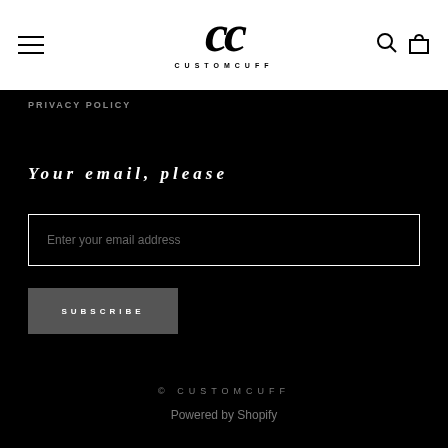[Figure (logo): CustomCuff logo: stylized CC letters in italic serif font with CUSTOMCUFF text below]
PRIVACY POLICY
Your email, please
Enter your email address
SUBSCRIBE
© CUSTOMCUFF
Powered by Shopify